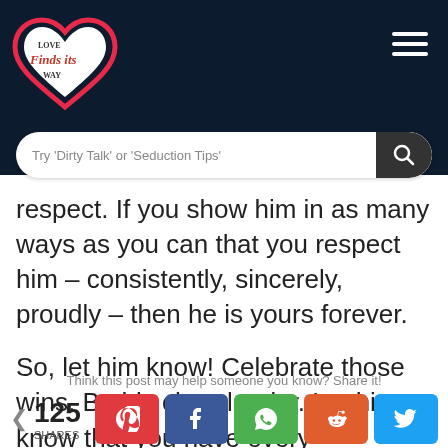[Figure (logo): Love Finds Its Way heart-shaped logo with script text, pink and white on dark background]
Try 'Dirty Talk' or 'Seduction Tips'
respect. If you show him in as many ways as you can that you respect him – consistently, sincerely, proudly – then he is yours forever.
So, let him know! Celebrate those wins. Be his cheerleader. Let him know that you have every confidence in his ability to succeed at whatever he sets out to do. He is your very own superhero!
Think this post may help someone you know? Share it!
125 SHARES